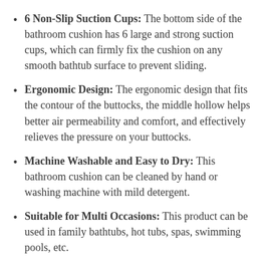6 Non-Slip Suction Cups: The bottom side of the bathroom cushion has 6 large and strong suction cups, which can firmly fix the cushion on any smooth bathtub surface to prevent sliding.
Ergonomic Design: The ergonomic design that fits the contour of the buttocks, the middle hollow helps better air permeability and comfort, and effectively relieves the pressure on your buttocks.
Machine Washable and Easy to Dry: This bathroom cushion can be cleaned by hand or washing machine with mild detergent.
Suitable for Multi Occasions: This product can be used in family bathtubs, hot tubs, spas, swimming pools, etc.